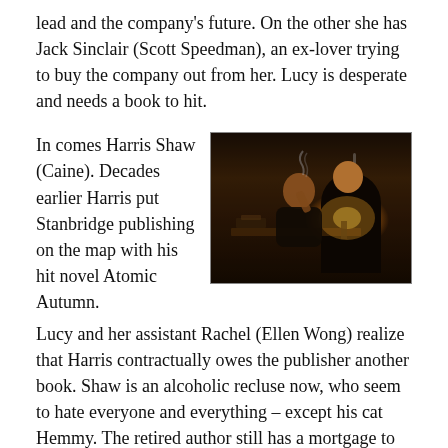lead and the company's future. On the other she has Jack Sinclair (Scott Speedman), an ex-lover trying to buy the company out from her. Lucy is desperate and needs a book to hit.
In comes Harris Shaw (Caine). Decades earlier Harris put Stanbridge publishing on the map with his hit novel Atomic Autumn.
[Figure (photo): A dark, atmospheric photo of an elderly man sitting at a cluttered desk in a dimly lit study, smoking, with a warm lamp glowing nearby.]
Lucy and her assistant Rachel (Ellen Wong) realize that Harris contractually owes the publisher another book. Shaw is an alcoholic recluse now, who seem to hate everyone and everything – except his cat Hemmy. The retired author still has a mortgage to pay, so the possible financial gain from a hit book is too enticing. Of course, there is a strange stipulation in the contract that they can either edit the book, or Shaw has to